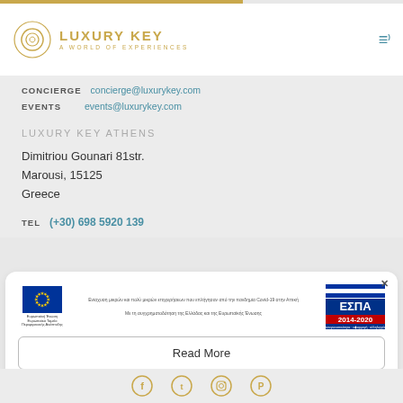LUXURY KEY — A WORLD OF EXPERIENCES
CONCIERGE   concierge@luxurykey.com
EVENTS   events@luxurykey.com
LUXURY KEY ATHENS
Dimitriou Gounari 81str.
Marousi, 15125
Greece
TEL   (+30) 698 5920 139
[Figure (logo): EU flag with Europaikí Énosi / ESPA 2014-2020 logos and Greek text about support for SMEs affected by Covid-19 pandemic in Greece]
Read More